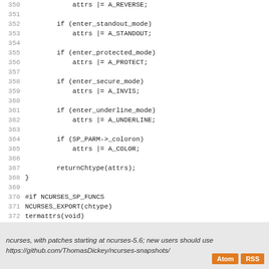[Figure (screenshot): Source code listing lines 350-376 showing C code with curses attribute handling, function definitions with #if NCURSES_SP_FUNCS preprocessor block]
ncurses, with patches starting at ncurses-5.6; new users should use https://github.com/ThomasDickey/ncurses-snapshots/